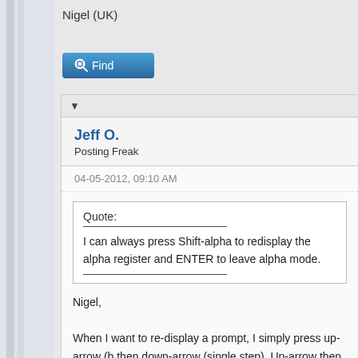Nigel (UK)
[Figure (screenshot): Find button with magnifying glass icon]
▼
Jeff O.
Posting Freak
04-05-2012, 09:10 AM
Quote:
I can always press Shift-alpha to redisplay the alpha register and ENTER to leave alpha mode.
Nigel,

When I want to re-display a prompt, I simply press up-arrow (b then down-arrow (single step). Up-arrow then R/S will also do t (Admittedly, this is on v2.2, I presume it would work on v3.)